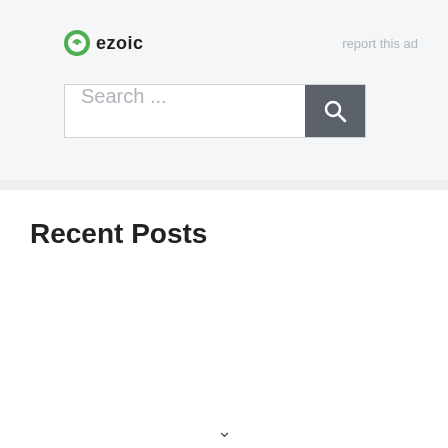[Figure (logo): Ezoic logo with green circular icon and bold 'ezoic' text]
report this ad
[Figure (screenshot): Search bar with placeholder text 'Search ...' and a dark grey search button with magnifying glass icon]
Recent Posts